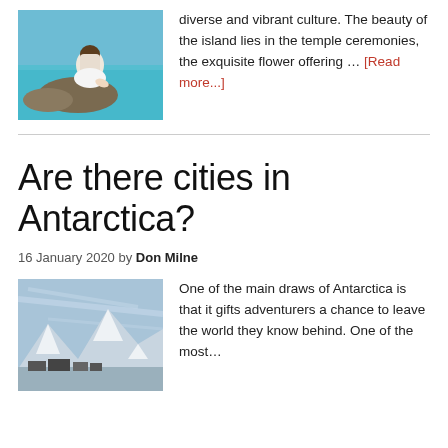[Figure (photo): Woman in white sitting by turquoise water]
diverse and vibrant culture. The beauty of the island lies in the temple ceremonies, the exquisite flower offering … [Read more...]
[Figure (photo): Snowy Antarctic mountains with buildings in foreground under blue sky]
Are there cities in Antarctica?
16 January 2020 by Don Milne
One of the main draws of Antarctica is that it gifts adventurers a chance to leave the world they know behind. One of the most...